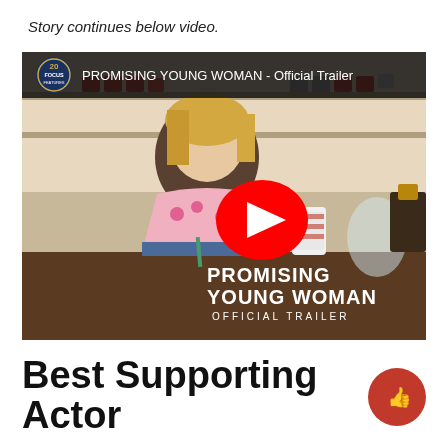Story continues below video.
[Figure (screenshot): YouTube video thumbnail for 'PROMISING YOUNG WOMAN - Official Trailer' with Focus Features logo, a woman in a pink floral sweater at a diner counter, YouTube play button overlay, and the film title 'PROMISING YOUNG WOMAN OFFICIAL TRAILER' in the lower right.]
Best Supporting Actor